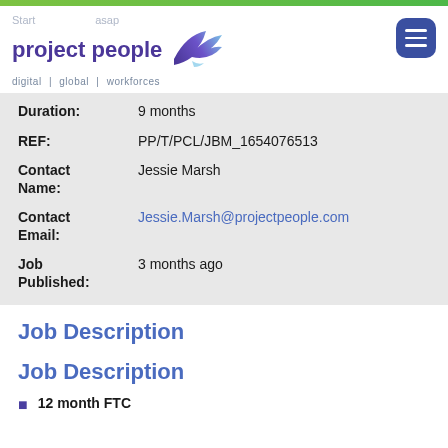project people | digital | global | workforces
Duration: 9 months
REF: PP/T/PCL/JBM_1654076513
Contact Name: Jessie Marsh
Contact Email: Jessie.Marsh@projectpeople.com
Job Published: 3 months ago
Job Description
Job Description
12 month FTC